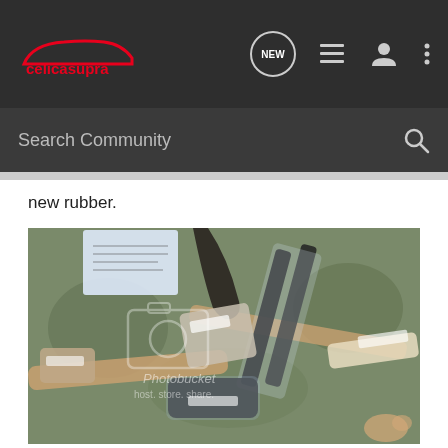celicasupra - navigation bar with NEW, list, user, and menu icons
Search Community
new rubber.
[Figure (photo): Photo of several rubber car parts and seals in plastic packaging spread out on a carpeted floor, with a Photobucket watermark overlay.]